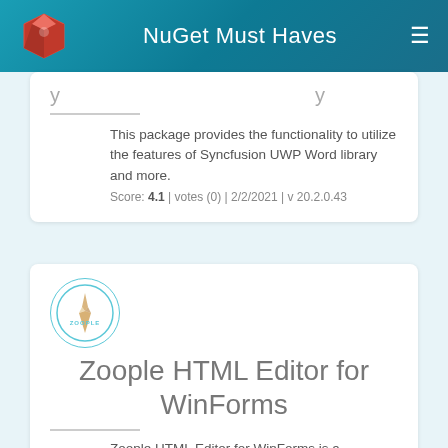NuGet Must Haves
This package provides the functionality to utilize the features of Syncfusion UWP Word library and more.
Score: 4.1 | votes (0) | 2/2/2021 | v 20.2.0.43
[Figure (logo): Zoople logo: circular border with star/compass icon and ZOOPLE text]
Zoople HTML Editor for WinForms
Zoople HTML Editor for WinForms is a